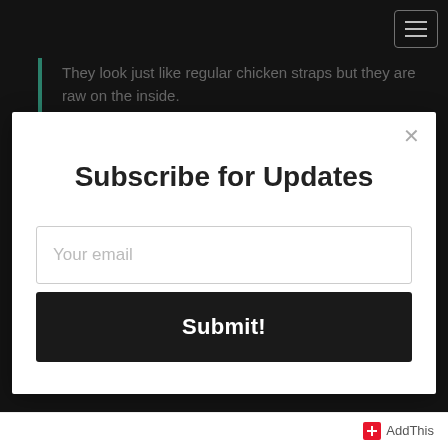They look just like regular chicken straps but they are raw on the inside.
Subscribe for Updates
Your email
Submit!
AddThis